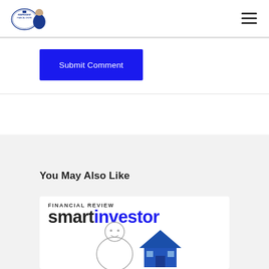Independent Financial Centre logo and navigation
Submit Comment
You May Also Like
[Figure (photo): Financial Review Smart Investor magazine cover with person sketch and house image]